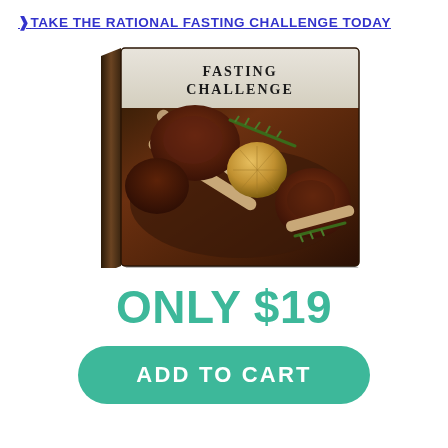❯TAKE THE RATIONAL FASTING CHALLENGE TODAY
[Figure (illustration): 3D book cover showing the title 'FASTING CHALLENGE' with a photo of lamb chops with roasted garlic and rosemary on a dark background]
ONLY $19
ADD TO CART